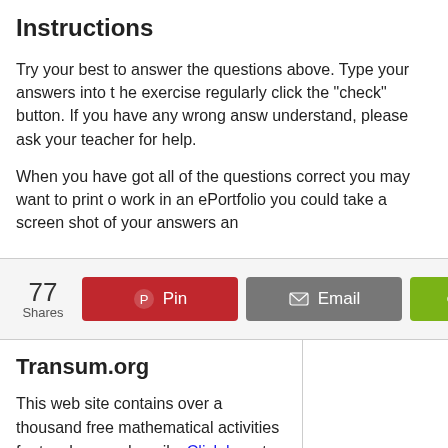Instructions
Try your best to answer the questions above. Type your answers into the exercise regularly click the "check" button. If you have any wrong answers you don't understand, please ask your teacher for help.
When you have got all of the questions correct you may want to print out your work in an ePortfolio you could take a screen shot of your answers and...
[Figure (infographic): Social share bar with 77 shares count, Pin button (red), Email button (grey), Share button (green)]
Transum.org
This web site contains over a thousand free mathematical activities for teachers and pupils. Click here to go to the main page which links to all of the resources available.
Please contact me if you have any...